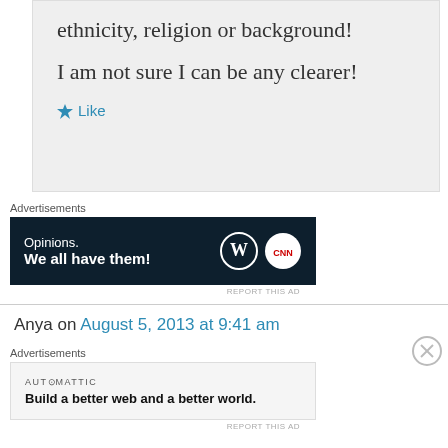ethnicity, religion or background!
I am not sure I can be any clearer!
★ Like
Advertisements
[Figure (infographic): Dark navy ad banner reading 'Opinions. We all have them!' with WordPress and CNN logos on the right]
REPORT THIS AD
Anya on August 5, 2013 at 9:41 am
Advertisements
[Figure (infographic): Light grey ad banner with AUTOMATTIC logo and text 'Build a better web and a better world.']
REPORT THIS AD